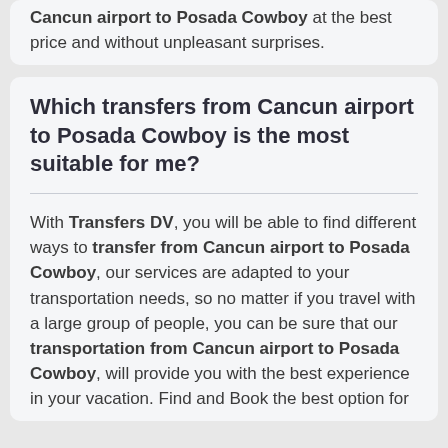Cancun airport to Posada Cowboy at the best price and without unpleasant surprises.
Which transfers from Cancun airport to Posada Cowboy is the most suitable for me?
With Transfers DV, you will be able to find different ways to transfer from Cancun airport to Posada Cowboy, our services are adapted to your transportation needs, so no matter if you travel with a large group of people, you can be sure that our transportation from Cancun airport to Posada Cowboy, will provide you with the best experience in your vacation. Find and Book the best option for